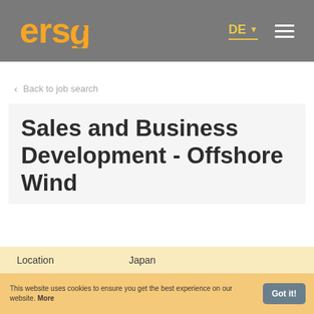ersg
< Back to job search
Sales and Business Development - Offshore Wind
This website uses cookies to ensure you get the best experience on our website. More
Location   Japan